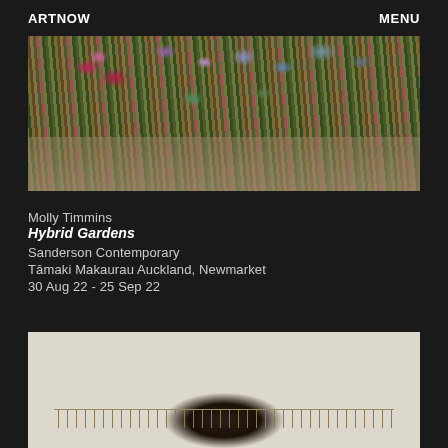ARTNOW   MENU
[Figure (photo): Horizontal rectangular artwork showing a dense botanical collage of ferns, flowers including pink and purple blooms, and foliage, displayed against a grey background — appears to be a physical object like a painted or embroidered panel.]
Molly Timmins
Hybrid Gardens
Sanderson Contemporary
Tāmaki Makaurau Auckland, Newmarket
30 Aug 22 - 25 Sep 22
[Figure (photo): Partial view of an artwork or sculpture against a light cream background, showing what appears to be a dark organic form (hair or fur) with a fern-like spine or decorative element extending horizontally across the composition.]